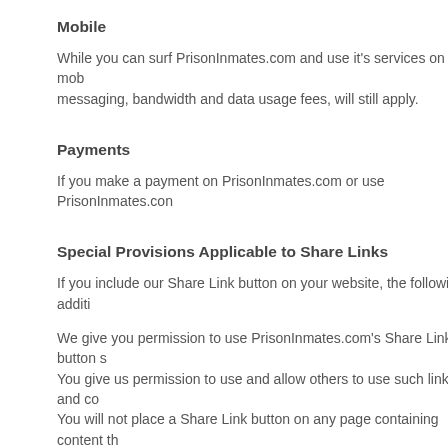Mobile
While you can surf PrisonInmates.com and use it's services on your mobile device, messaging, bandwidth and data usage fees, will still apply.
Payments
If you make a payment on PrisonInmates.com or use PrisonInmates.com...
Special Provisions Applicable to Share Links
If you include our Share Link button on your website, the following additio...
We give you permission to use PrisonInmates.com's Share Link button s... You give us permission to use and allow others to use such links and co... You will not place a Share Link button on any page containing content th...
About Advertisements and Other Commercial Content Served or Em...
Our goal is to deliver ads that are not only valuable to advertisers, but al...
We do not give your content or information to advertisers without your co... You understand that we may not always identify paid services and comm...
Special Provisions Applicable to Advertisers
You can target your specific audience by buying ads on PrisonInmates...